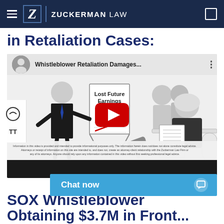Zuckerman Law
in Retaliation Cases:
[Figure (screenshot): YouTube video thumbnail for 'Whistleblower Retaliation Damages...' showing an animated figure in a suit pointing to a flipchart with 'Lost Future Earnings' and a rising red line, with a woman sitting at a desk with documents. A red YouTube play button is overlaid in the center. A small disclaimer text appears at the bottom of the video.]
Chat now
SOX Whistleblower Obtaining $3.7M in Front...